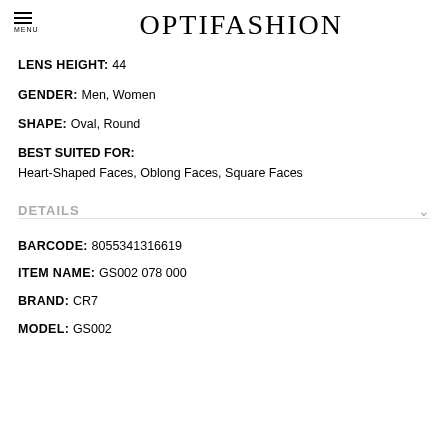OPTIFASHION
LENS HEIGHT:  44
GENDER:  Men, Women
SHAPE:  Oval, Round
BEST SUITED FOR:
Heart-Shaped Faces, Oblong Faces, Square Faces
DETAILS
BARCODE:  8055341316619
ITEM NAME:  GS002 078 000
BRAND:  CR7
MODEL:  GS002